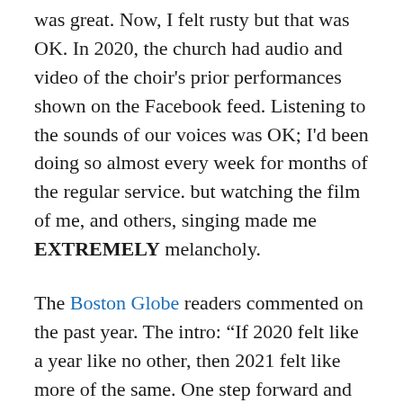was great. Now, I felt rusty but that was OK. In 2020, the church had audio and video of the choir's prior performances shown on the Facebook feed. Listening to the sounds of our voices was OK; I'd been doing so almost every week for months of the regular service. but watching the film of me, and others, singing made me EXTREMELY melancholy.
The Boston Globe readers commented on the past year. The intro: “If 2020 felt like a year like no other, then 2021 felt like more of the same. One step forward and two steps back, or vice versa? It depended on the day. We saw vaccines rolled out, then resisted. Bitter partisanship kept its grip on our politics.”